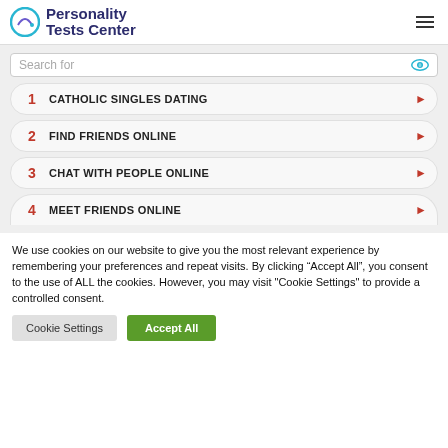Personality Tests Center
[Figure (screenshot): Search for section with 4 list items: 1 CATHOLIC SINGLES DATING, 2 FIND FRIENDS ONLINE, 3 CHAT WITH PEOPLE ONLINE, 4 MEET FRIENDS ONLINE]
We use cookies on our website to give you the most relevant experience by remembering your preferences and repeat visits. By clicking “Accept All”, you consent to the use of ALL the cookies. However, you may visit "Cookie Settings" to provide a controlled consent.
Cookie Settings
Accept All